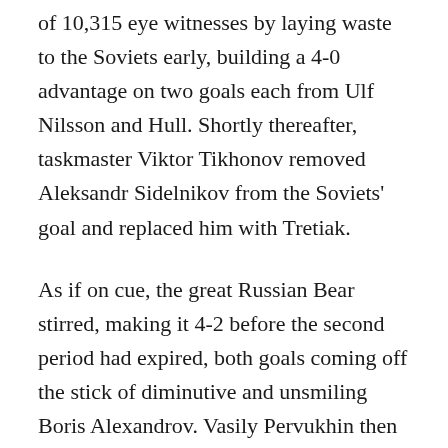of 10,315 eye witnesses by laying waste to the Soviets early, building a 4-0 advantage on two goals each from Ulf Nilsson and Hull. Shortly thereafter, taskmaster Viktor Tikhonov removed Aleksandr Sidelnikov from the Soviets' goal and replaced him with Tretiak.
As if on cue, the great Russian Bear stirred, making it 4-2 before the second period had expired, both goals coming off the stick of diminutive and unsmiling Boris Alexandrov. Vasily Pervukhin then supplied third-period drama, beating Jets goaltender Joe Daley two minutes and 43 seconds in. A collective murmur rumbled from the pews to the rafters in the old barn on Maroons Road. Fans feared the worst.